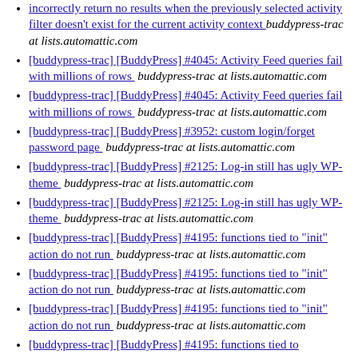incorrectly return no results when the previously selected activity filter doesn't exist for the current activity context  buddypress-trac at lists.automattic.com
[buddypress-trac] [BuddyPress] #4045: Activity Feed queries fail with millions of rows   buddypress-trac at lists.automattic.com
[buddypress-trac] [BuddyPress] #4045: Activity Feed queries fail with millions of rows   buddypress-trac at lists.automattic.com
[buddypress-trac] [BuddyPress] #3952: custom login/forget password page   buddypress-trac at lists.automattic.com
[buddypress-trac] [BuddyPress] #2125: Log-in still has ugly WP-theme   buddypress-trac at lists.automattic.com
[buddypress-trac] [BuddyPress] #2125: Log-in still has ugly WP-theme   buddypress-trac at lists.automattic.com
[buddypress-trac] [BuddyPress] #4195: functions tied to "init" action do not run   buddypress-trac at lists.automattic.com
[buddypress-trac] [BuddyPress] #4195: functions tied to "init" action do not run   buddypress-trac at lists.automattic.com
[buddypress-trac] [BuddyPress] #4195: functions tied to "init" action do not run   buddypress-trac at lists.automattic.com
[buddypress-trac] [BuddyPress] #4195: functions tied to